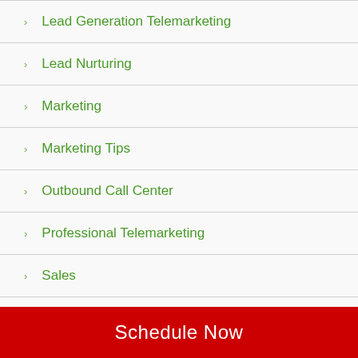Lead Generation Telemarketing
Lead Nurturing
Marketing
Marketing Tips
Outbound Call Center
Professional Telemarketing
Sales
Software Leads
Telemarketers
Telemarketing
Telemarketing Advice
Telemarketing Companies
Telemarketing Leads
Schedule Now